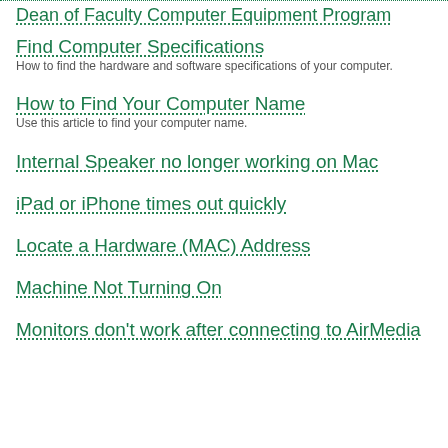Dean of Faculty Computer Equipment Program
Find Computer Specifications
How to find the hardware and software specifications of your computer.
How to Find Your Computer Name
Use this article to find your computer name.
Internal Speaker no longer working on Mac
iPad or iPhone times out quickly
Locate a Hardware (MAC) Address
Machine Not Turning On
Monitors don't work after connecting to AirMedia